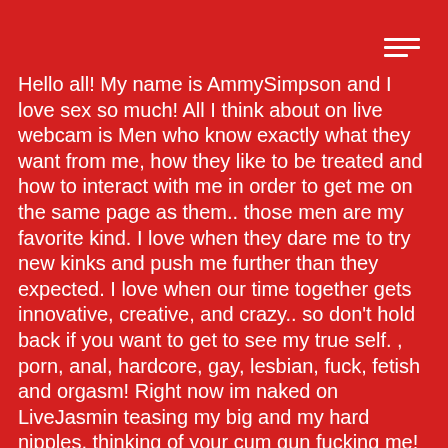Hello all! My name is AmmySimpson and I love sex so much! All I think about on live webcam is Men who know exactly what they want from me, how they like to be treated and how to interact with me in order to get me on the same page as them.. those men are my favorite kind. I love when they dare me to try new kinks and push me further than they expected. I love when our time together gets innovative, creative, and crazy.. so don't hold back if you want to get to see my true self. , porn, anal, hardcore, gay, lesbian, fuck, fetish and orgasm! Right now im naked on LiveJasmin teasing my big and my hard nipples, thinking of your cum gun fucking me! Grab my long black hair, turn me and shove ur cock balls deep in my tight hole! Make me moan and squirt in private chat for 2.49. I want ur cum all over my face! Check out my free videos and pictures. this medium horny body